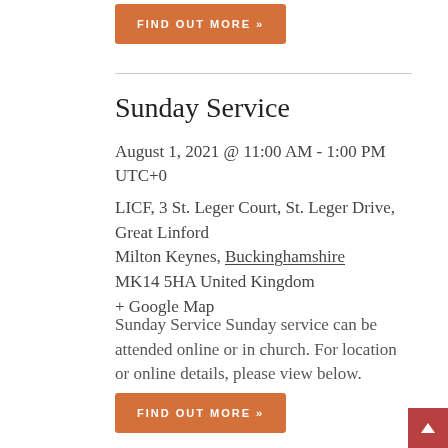[Figure (other): Orange 'FIND OUT MORE »' button at top of page]
Sunday Service
August 1, 2021 @ 11:00 AM - 1:00 PM UTC+0
LICF, 3 St. Leger Court, St. Leger Drive, Great Linford Milton Keynes, Buckinghamshire MK14 5HA United Kingdom + Google Map
Sunday Service Sunday service can be attended online or in church. For location or online details, please view below.
[Figure (other): Orange 'FIND OUT MORE »' button at bottom of page]
[Figure (other): Dark red scroll-to-top button with up arrow, bottom right corner]